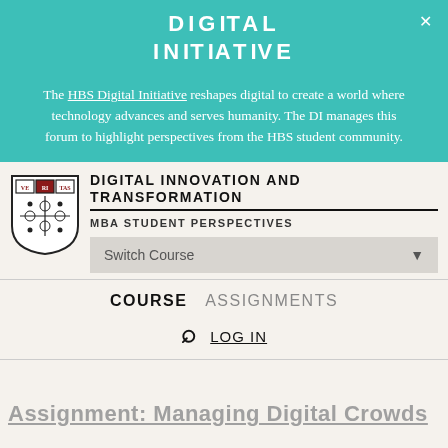[Figure (logo): Digital Initiative teal banner logo with text DIGITAL INITIATIVE in white bold letters on teal background]
The HBS Digital Initiative reshapes digital to create a world where technology advances and serves humanity. The DI manages this forum to highlight perspectives from the HBS student community.
[Figure (logo): Harvard Business School shield/crest logo in black, white and crimson]
DIGITAL INNOVATION AND TRANSFORMATION
MBA STUDENT PERSPECTIVES
Switch Course
COURSE  ASSIGNMENTS
LOG IN
Assignment: Managing Digital Crowds